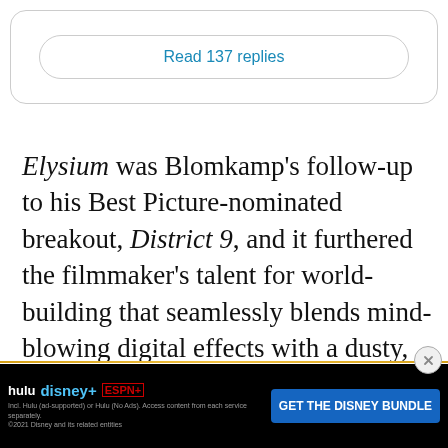Read 137 replies
Elysium was Blomkamp's follow-up to his Best Picture-nominated breakout, District 9, and it furthered the filmmaker's talent for world-building that seamlessly blends mind-blowing digital effects with a dusty, junky Third World aesthetic. Like Alita, Blomkamp's original sci-fi featu…
[Figure (screenshot): Advertisement banner for Hulu, Disney+, and ESPN bundle with blue CTA button 'GET THE DISNEY BUNDLE']